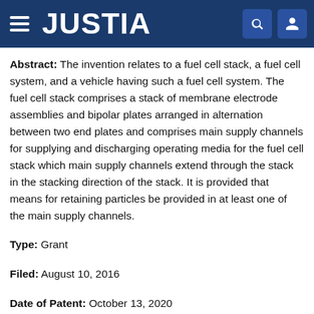JUSTIA
Abstract: The invention relates to a fuel cell stack, a fuel cell system, and a vehicle having such a fuel cell system. The fuel cell stack comprises a stack of membrane electrode assemblies and bipolar plates arranged in alternation between two end plates and comprises main supply channels for supplying and discharging operating media for the fuel cell stack which main supply channels extend through the stack in the stacking direction of the stack. It is provided that means for retaining particles be provided in at least one of the main supply channels.
Type: Grant
Filed: August 10, 2016
Date of Patent: October 13, 2020
Assignees: VOLKSWAGEN AG, AUDI AG
Inventors: Peter Bach, Ingo Drescher